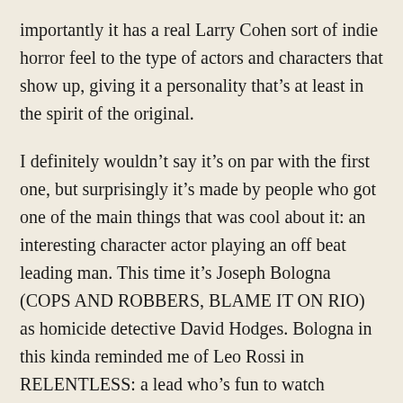importantly it has a real Larry Cohen sort of indie horror feel to the type of actors and characters that show up, giving it a personality that’s at least in the spirit of the original.

I definitely wouldn’t say it’s on par with the first one, but surprisingly it’s made by people who got one of the main things that was cool about it: an interesting character actor playing an off beat leading man. This time it’s Joseph Bologna (COPS AND ROBBERS, BLAME IT ON RIO) as homicide detective David Hodges. Bologna in this kinda reminded me of Leo Rossi in RELENTLESS: a lead who’s fun to watch because he seems like he’d usually be a supporting character. And there are lots of little goofy touches that made me smile. When he wakes up in the morning the